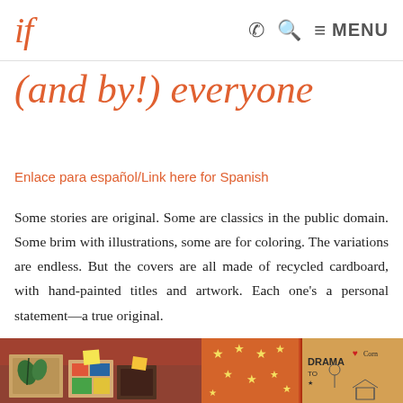if  ☎ 🔍 ≡ MENU
(and by!) everyone
Enlace para español/Link here for Spanish
Some stories are original. Some are classics in the public domain. Some brim with illustrations, some are for coloring. The variations are endless. But the covers are all made of recycled cardboard, with hand-painted titles and artwork. Each one's a personal statement—a true original.
[Figure (photo): Photo of handmade book covers made from recycled cardboard with hand-painted artwork, left image]
[Figure (photo): Photo of handmade book covers made from recycled cardboard with hand-painted artwork, right image showing stars and text 'DRAMA']